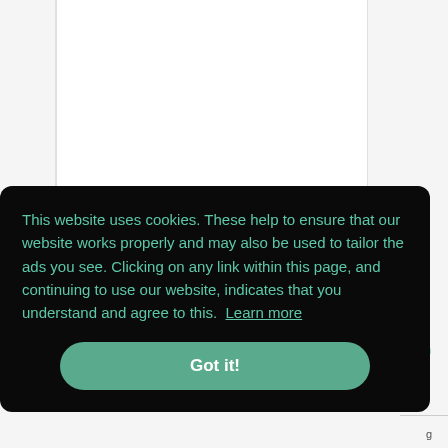[Figure (screenshot): Partial view of a website with light gray and white background columns, partially obscured by a cookie consent overlay banner.]
This website uses cookies. These help to ensure that our website works properly and may also be used to tailor the ads you see. Clicking on any link within this page, and continuing to use our website, indicates that you understand and agree to this. Learn more
Got it!